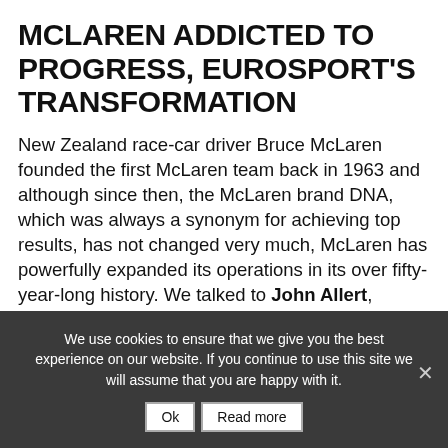MCLAREN ADDICTED TO PROGRESS, EUROSPORT'S TRANSFORMATION
New Zealand race-car driver Bruce McLaren founded the first McLaren team back in 1963 and although since then, the McLaren brand DNA, which was always a synonym for achieving top results, has not changed very much, McLaren has powerfully expanded its operations in its over fifty-year-long history. We talked to John Allert, McLaren Group Chief Marketing Officer, about the brand's development, the importance of creating branded content and brand extensions to
We use cookies to ensure that we give you the best experience on our website. If you continue to use this site we will assume that you are happy with it.